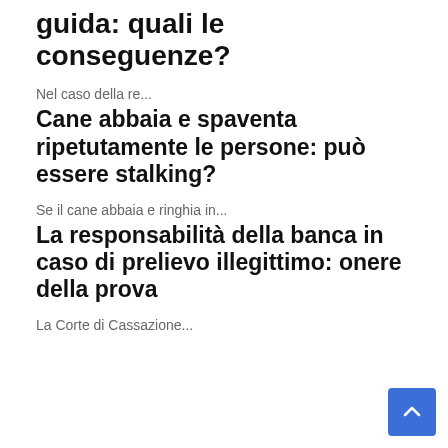guida: quali le conseguenze?
Nel caso della re...
Cane abbaia e spaventa ripetutamente le persone: può essere stalking?
Se il cane abbaia e ringhia in...
La responsabilità della banca in caso di prelievo illegittimo: onere della prova
La Corte di Cassazione...